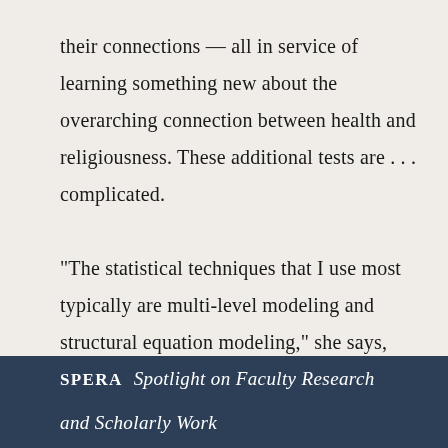their connections — all in service of learning something new about the overarching connection between health and religiousness. These additional tests are . . . complicated.

“The statistical techniques that I use most typically are multi-level modeling and structural equation modeling,” she says, “and those are too advanced for my undergraduates to participate in fully” (and
SPERA   Spotlight on Faculty Research and Scholarly Work